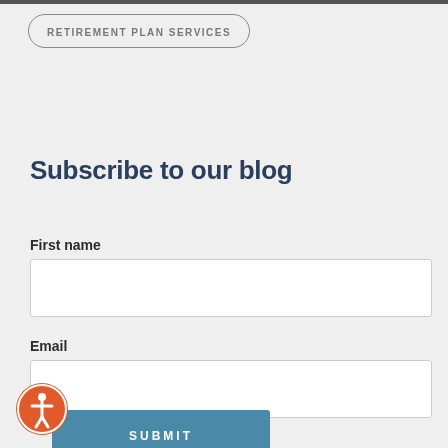RETIREMENT PLAN SERVICES
Subscribe to our blog
First name
Email
SUBMIT